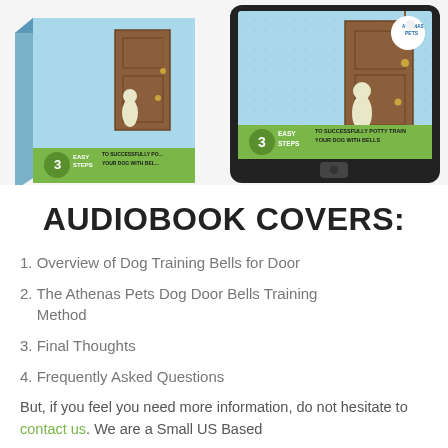[Figure (photo): Product mockup showing a physical book box and a tablet displaying the audiobook cover '3 Easy Steps to Successfully Potty Train Your Dog with Bells' by Athenas Pets, with a light blue background featuring a dog near a door]
AUDIOBOOK COVERS:
1. Overview of Dog Training Bells for Door
2. The Athenas Pets Dog Door Bells Training Method
3. Final Thoughts
4. Frequently Asked Questions
But, if you feel you need more information, do not hesitate to contact us. We are a Small US Based